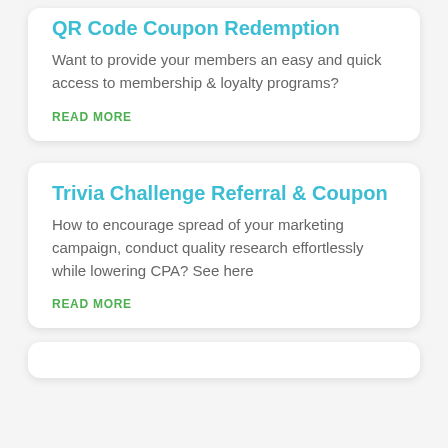QR Code Coupon Redemption
Want to provide your members an easy and quick access to membership & loyalty programs?
READ MORE
Trivia Challenge Referral & Coupon
How to encourage spread of your marketing campaign, conduct quality research effortlessly while lowering CPA? See here
READ MORE